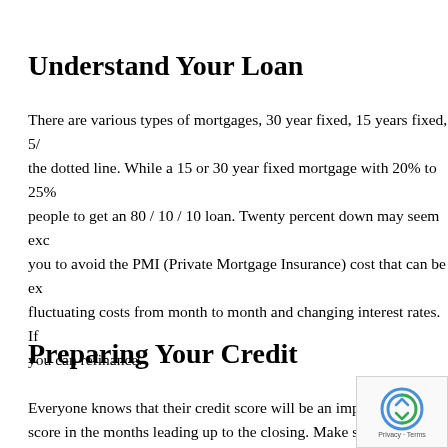Understand Your Loan
There are various types of mortgages, 30 year fixed, 15 years fixed, 5/... the dotted line. While a 15 or 30 year fixed mortgage with 20% to 25% ... people to get an 80 / 10 / 10 loan. Twenty percent down may seem exc... you to avoid the PMI (Private Mortgage Insurance) cost that can be ex... fluctuating costs from month to month and changing interest rates. If ... you can refinance.
Preparing Your Credit
Everyone knows that their credit score will be an important... score in the months leading up to the closing. Make sure you keep the